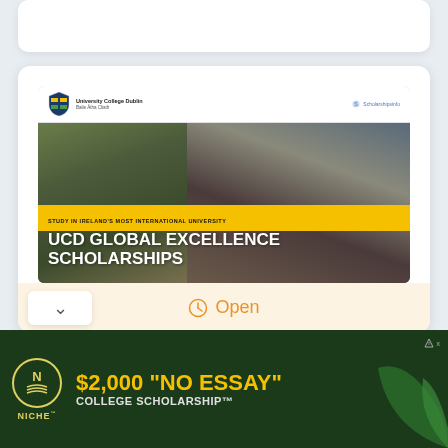[Figure (screenshot): Top partially-visible white card from a web UI]
[Figure (screenshot): Main card showing UCD Global Excellence Scholarships with photo of two smiling students, yellow banner reading STUDY IN IRELAND'S MOST INTERNATIONAL UNIVERSITY, white title text UCD GLOBAL EXCELLENCE SCHOLARSHIPS, and an Open status below]
STUDY IN IRELAND'S MOST INTERNATIONAL UNIVERSITY
UCD GLOBAL EXCELLENCE SCHOLARSHIPS
Open
[Figure (infographic): Niche advertisement banner: $2,000 "NO ESSAY" COLLEGE SCHOLARSHIP™ on dark green background with Niche logo and green leaf graphic]